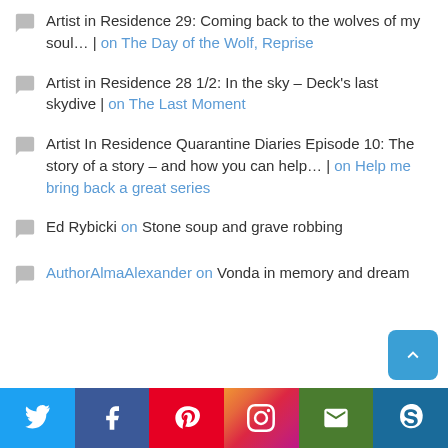Artist in Residence 29: Coming back to the wolves of my soul… | on The Day of the Wolf, Reprise
Artist in Residence 28 1/2: In the sky – Deck's last skydive | on The Last Moment
Artist In Residence Quarantine Diaries Episode 10: The story of a story – and how you can help… | on Help me bring back a great series
Ed Rybicki on Stone soup and grave robbing
AuthorAlmaAlexander on Vonda in memory and dream